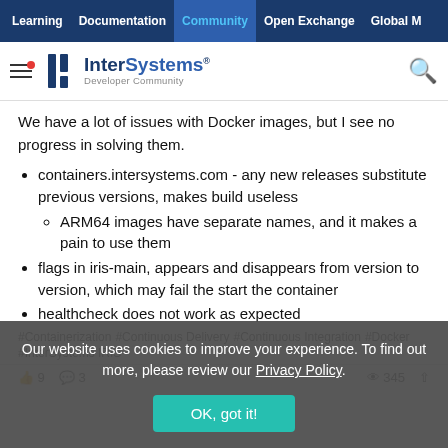Learning | Documentation | Community | Open Exchange | Global M...
[Figure (logo): InterSystems Developer Community logo with hamburger menu icon and search icon]
We have a lot of issues with Docker images, but I see no progress in solving them.
containers.intersystems.com - any new releases substitute previous versions, makes build useless
ARM64 images have separate names, and it makes a pain to use them
flags in iris-main, appears and disappears from version to version, which may fail the start the container
healthcheck does not work as expected
#Containerization #Continuous Delivery #Continuous Integration #Docker #InterSystems IRIS
Our website uses cookies to improve your experience. To find out more, please review our Privacy Policy.